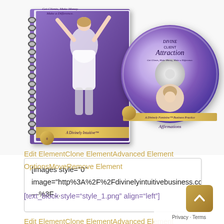[Figure (photo): Product image showing a spiral-bound notebook and CD disc for 'Divine Client Attraction – Get Clients, Make Money, Make a Difference' program. The notebook has a purple cover with a woman figure raising her arms. The CD disc has a purple label with the same branding and a woman's portrait.]
[images style="0" image="http%3A%2F%2FdivinelyIntuitivebusiness.co —%3F…
Edit ElementClone ElementAdvanced Element OptionsMoveRemove Element
[text_block style="style_1.png" align="left"]